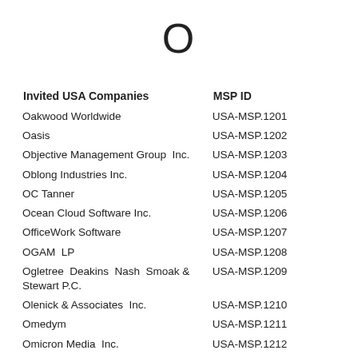O
| Invited USA Companies | MSP ID |
| --- | --- |
| Oakwood Worldwide | USA-MSP.1201 |
| Oasis | USA-MSP.1202 |
| Objective Management Group Inc. | USA-MSP.1203 |
| Oblong Industries Inc. | USA-MSP.1204 |
| OC Tanner | USA-MSP.1205 |
| Ocean Cloud Software Inc. | USA-MSP.1206 |
| OfficeWork Software | USA-MSP.1207 |
| OGAM LP | USA-MSP.1208 |
| Ogletree Deakins Nash Smoak & Stewart P.C. | USA-MSP.1209 |
| Olenick & Associates Inc. | USA-MSP.1210 |
| Omedym | USA-MSP.1211 |
| Omicron Media Inc. | USA-MSP.1212 |
| Omni Partners US LLC | USA-MSP.1213 |